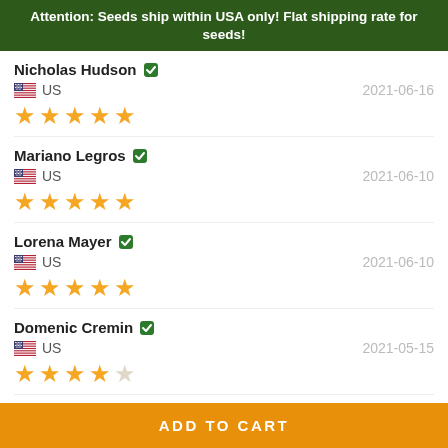Attention: Seeds ship within USA only! Flat shipping rate for seeds!
Nicholas Hudson | verified | US | 2021-06-16 | 5 stars
Mariano Legros | verified | US | 2021-06-10 | 5 stars
Lorena Mayer | verified | US | 2021-06-10 | 5 stars
Domenic Cremin | verified | US | 2021-05-15 | 4 stars
Bessie Bachteler | verified | (partial)
ADD TO CART